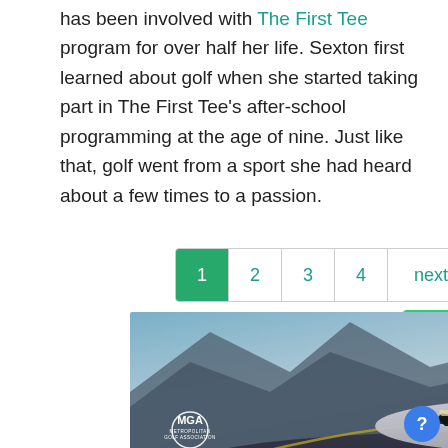has been involved with The First Tee program for over half her life. Sexton first learned about golf when she started taking part in The First Tee's after-school programming at the age of nine. Just like that, golf went from a sport she had heard about a few times to a passion.
Pagination: 1 (active), 2, 3, 4, next, last
[Figure (photo): Advertisement showing a silver Lexus LC Convertible sports car driving on a winding road with mountains in the background. MGA Metropolitan Golf Association logo in bottom left. Caption reads: See full details at metgolf.org/lexus ... LC Convertible]